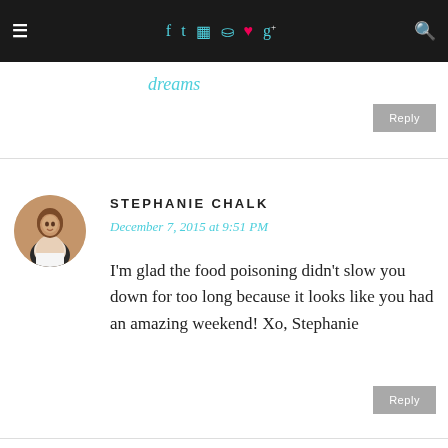≡  f  t  ☎  ℗  ♥  g+  🔍
dreams
Reply
STEPHANIE CHALK
December 7, 2015 at 9:51 PM
I'm glad the food poisoning didn't slow you down for too long because it looks like you had an amazing weekend! Xo, Stephanie
Reply